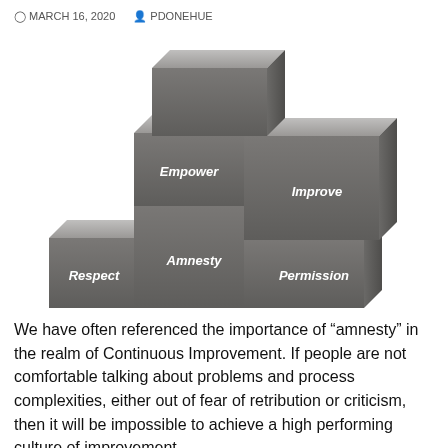MARCH 16, 2020   PDONEHUE
[Figure (illustration): Staircase of five concrete/stone blocks arranged in ascending steps from left to right, each labeled with a word in white italic text: Respect (bottom-left), Amnesty (middle), Empower (upper-left), Improve (upper-right), Permission (bottom-right).]
We have often referenced the importance of “amnesty” in the realm of Continuous Improvement. If people are not comfortable talking about problems and process complexities, either out of fear of retribution or criticism, then it will be impossible to achieve a high performing culture of improvement.